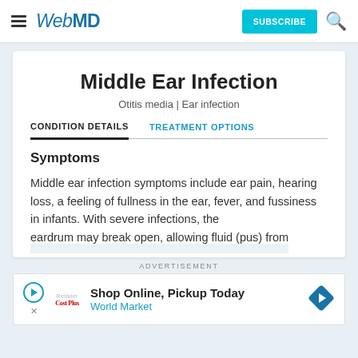WebMD
Middle Ear Infection
Otitis media | Ear infection
CONDITION DETAILS   TREATMENT OPTIONS
Symptoms
Middle ear infection symptoms include ear pain, hearing loss, a feeling of fullness in the ear, fever, and fussiness in infants. With severe infections, the eardrum may break open, allowing fluid (pus) from
ADVERTISEMENT
[Figure (other): Advertisement banner: Shop Online, Pickup Today – World Market]